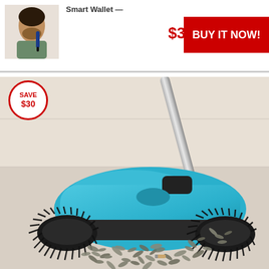[Figure (photo): Man using beard trimmer - product thumbnail]
Smart Wallet —
$34.95
BUY IT NOW!
[Figure (infographic): Red circle badge with SAVE $30]
[Figure (photo): Blue manual floor sweeper with rotating brushes sweeping sunflower seeds and debris off a tile floor]